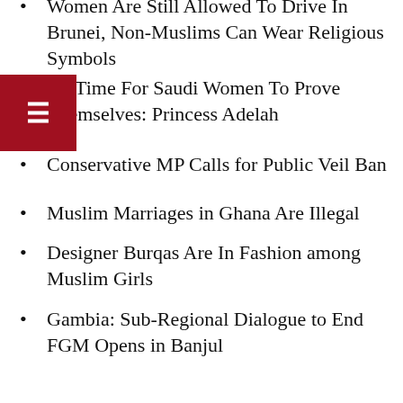Women Are Still Allowed To Drive In Brunei, Non-Muslims Can Wear Religious Symbols
It's Time For Saudi Women To Prove Themselves: Princess Adelah
Conservative MP Calls for Public Veil Ban
Muslim Marriages in Ghana Are Illegal
Designer Burqas Are In Fashion among Muslim Girls
Gambia: Sub-Regional Dialogue to End FGM Opens in Banjul
First Saudi Woman to Participate In the Environment and Petroleum Forum 2014
Louise Mensch Thinks the Real Face of British Islam Is a Man of Sikh Heritage
Sharmeen Obaid-Chinoy: Pakistan's Most Daring Documentarian